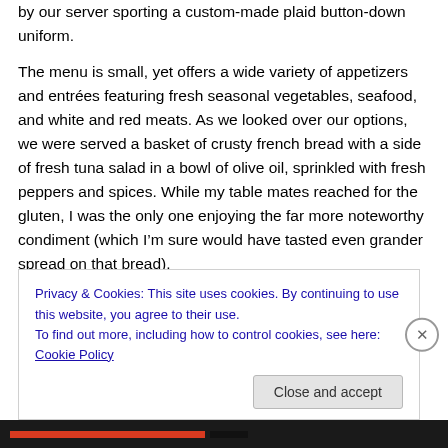by our server sporting a custom-made plaid button-down uniform.

The menu is small, yet offers a wide variety of appetizers and entrées featuring fresh seasonal vegetables, seafood, and white and red meats. As we looked over our options, we were served a basket of crusty french bread with a side of fresh tuna salad in a bowl of olive oil, sprinkled with fresh peppers and spices. While my table mates reached for the gluten, I was the only one enjoying the far more noteworthy condiment (which I'm sure would have tasted even grander spread on that bread).
Privacy & Cookies: This site uses cookies. By continuing to use this website, you agree to their use.
To find out more, including how to control cookies, see here: Cookie Policy